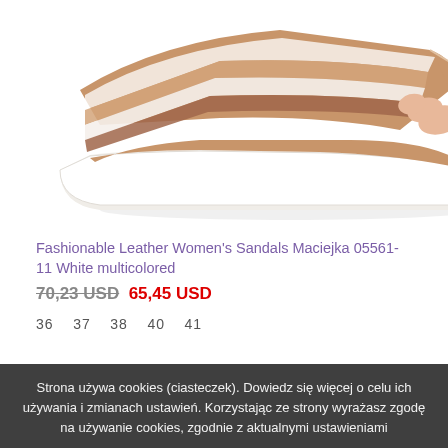[Figure (photo): Product photo of fashionable leather women's sandals — white multicolored slide sandals with striped straps (brown, white, rose gold), white thick sole, photographed against white background, showing top-front view with toes visible.]
Fashionable Leather Women's Sandals Maciejka 05561-11 White multicolored
70,23 USD  65,45 USD
36   37   38   40   41
Strona używa cookies (ciasteczek). Dowiedz się więcej o celu ich używania i zmianach ustawień. Korzystając ze strony wyrażasz zgodę na używanie cookies, zgodnie z aktualnymi ustawieniami